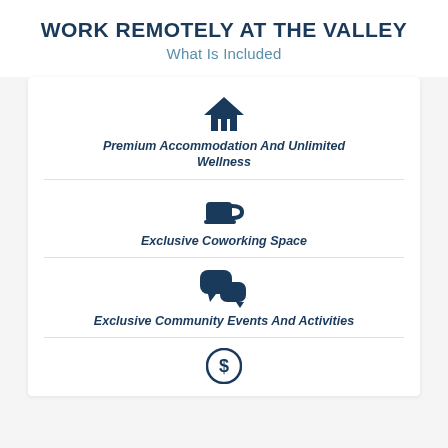WORK REMOTELY AT THE VALLEY
What Is Included
Premium Accommodation And Unlimited Wellness
Exclusive Coworking Space
Exclusive Community Events And Activities
[Figure (illustration): Dollar sign icon circle]